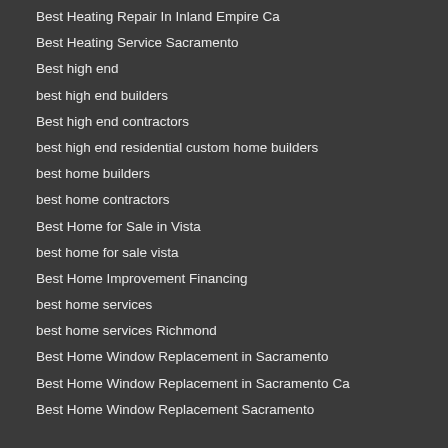Best Heating Repair In Inland Empire Ca
Best Heating Service Sacramento
Best high end
best high end builders
Best high end contractors
best high end residential custom home builders
best home builders
best home contractors
Best Home for Sale in Vista
best home for sale vista
Best Home Improvement Financing
best home services
best home services Richmond
Best Home Window Replacement in Sacramento
Best Home Window Replacement in Sacramento Ca
Best Home Window Replacement Sacramento